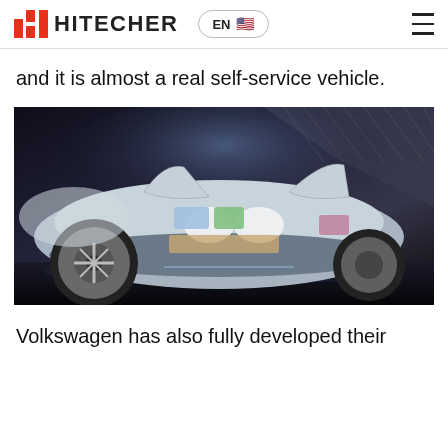HITECHER  EN
and it is almost a real self-service vehicle.
[Figure (photo): Photo of a futuristic silver autonomous concept car with gull-wing doors open, showing white lounge seats and display screens inside, in a dark showroom environment.]
Volkswagen has also fully developed their